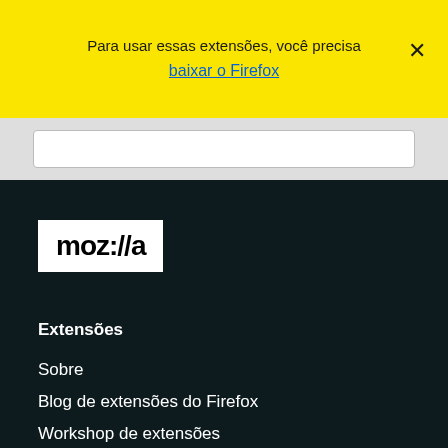Para usar essas extensões, você precisa baixar o Firefox
[Figure (logo): Mozilla logo in white rectangle on dark background]
Extensões
Sobre
Blog de extensões do Firefox
Workshop de extensões
Central do desenvolvedor